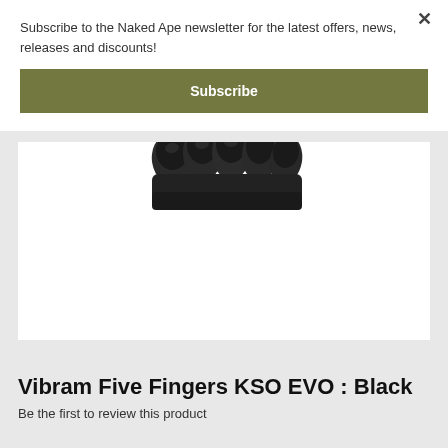Subscribe to the Naked Ape newsletter for the latest offers, news, releases and discounts!
Subscribe
[Figure (photo): Partial view of Vibram Five Fingers KSO EVO shoe toes in black, showing the individual toe pockets at the top of the product image frame]
Vibram Five Fingers KSO EVO : Black
Be the first to review this product